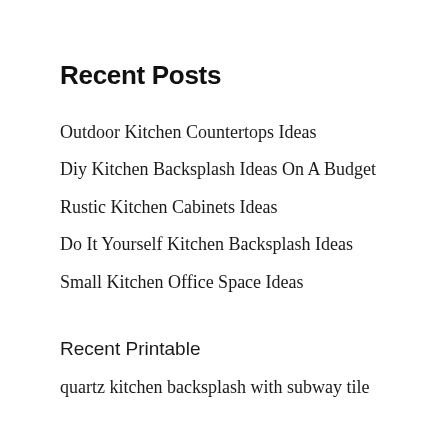Recent Posts
Outdoor Kitchen Countertops Ideas
Diy Kitchen Backsplash Ideas On A Budget
Rustic Kitchen Cabinets Ideas
Do It Yourself Kitchen Backsplash Ideas
Small Kitchen Office Space Ideas
Recent Printable
quartz kitchen backsplash with subway tile